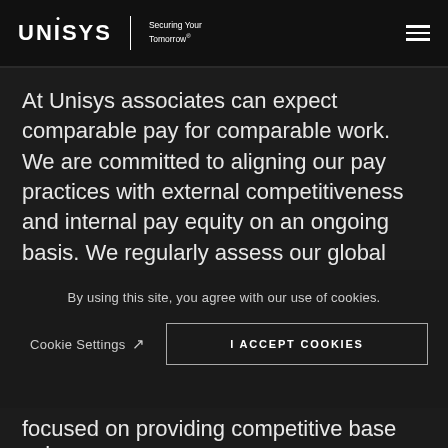UNISYS | Securing Your Tomorrow®
At Unisys associates can expect comparable pay for comparable work. We are committed to aligning our pay practices with external competitiveness and internal pay equity on an ongoing basis. We regularly assess our global total compensation to ensure that our pay practices fairly reward all Unisys associates
By using this site, you agree with our use of cookies.
Cookie Settings ↗   I ACCEPT COOKIES
focused on providing competitive base salary,